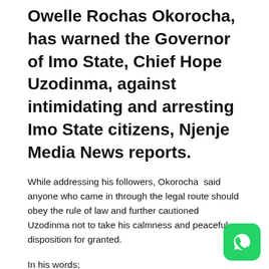Owelle Rochas Okorocha, has warned the Governor of Imo State, Chief Hope Uzodinma, against intimidating and arresting Imo State citizens, Njenje Media News reports.
While addressing his followers, Okorocha  said anyone who came in through the legal route should obey the rule of law and further cautioned Uzodinma not to take his calmness and peaceful disposition for granted.
In his words;
“Governor Hope Uzodinma is moving in a wrong direction that he may not end up well with. With what happened yesterday, there is a line that is not in politics...